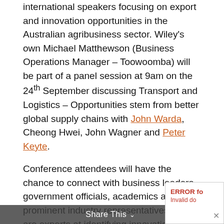international speakers focusing on export and innovation opportunities in the Australian agribusiness sector. Wiley's own Michael Matthewson (Business Operations Manager – Toowoomba) will be part of a panel session at 9am on the 24th September discussing Transport and Logistics – Opportunities stem from better global supply chains with John Warda, Cheong Hwei, John Wagner and Peter Keyte.
Conference attendees will have the chance to connect with business leaders, government officials, academics and prominent industry representatives who are experts at identifying innovation and export opportunities and improving the effectiveness of the agribusiness supply chain. You can view the program here.
Join Wiley and other representatives of the Agribusiness sector for two intensive days of speakers, panel discussions and networking which will assist you to